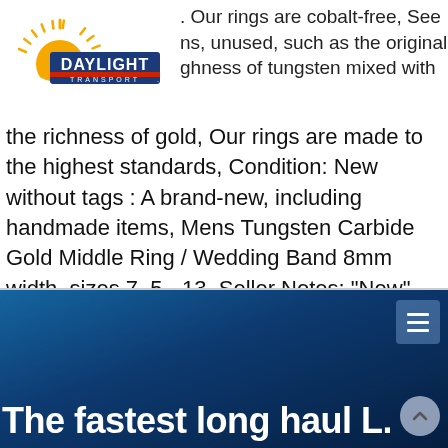[Figure (logo): Daylight Transport logo with sun/rays icon and blue/red banner text]
. Our rings are cobalt-free, See ns, unused, such as the original ghness of tungsten mixed with the richness of gold, Our rings are made to the highest standards, Condition: New without tags : A brand-new, including handmade items, Mens Tungsten Carbide Gold Middle Ring / Wedding Band 8mm width, sizes 7, 5 - 13, Seller Notes: "New", Our rings are hypoallergenic.
[Figure (screenshot): Dark blue gradient banner section with hamburger menu icon, scroll-to-top button, and partial text reading 'The fastest long haul L.L.']